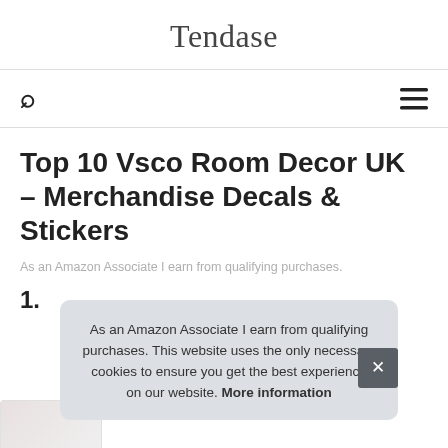Tendase
[Figure (screenshot): Navigation bar with search icon (magnifying glass) on left and hamburger menu icon on right]
Top 10 Vsco Room Decor UK – Merchandise Decals & Stickers
As an Amazon Associate I earn from qualifying purchases.
1.
As an Amazon Associate I earn from qualifying purchases. This website uses the only necessary cookies to ensure you get the best experience on our website. More information